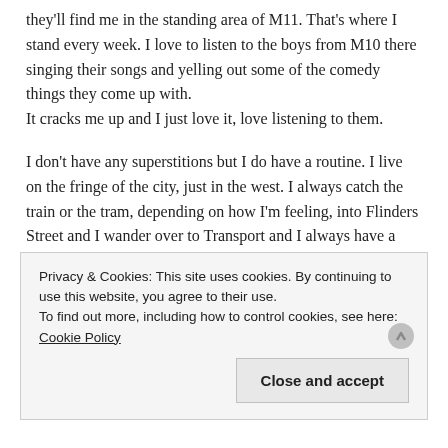they'll find me in the standing area of M11. That's where I stand every week. I love to listen to the boys from M10 there singing their songs and yelling out some of the comedy things they come up with. It cracks me up and I just love it, love listening to them.
I don't have any superstitions but I do have a routine. I live on the fringe of the city, just in the west. I always catch the train or the tram, depending on how I'm feeling, into Flinders Street and I wander over to Transport and I always have a pint at Transport. Then I'll walk up. I love the walk to the 'G on game day. I love walking with the crowd, I love listening to the banter in the crowd. I don't need anybody else to go to the football with, in fact I prefer just to go on my own and do my own thing. But I love the banter of listening to people talk about how the game's going to unfold when they really have absolutely no idea. I
Privacy & Cookies: This site uses cookies. By continuing to use this website, you agree to their use.
To find out more, including how to control cookies, see here: Cookie Policy
Close and accept